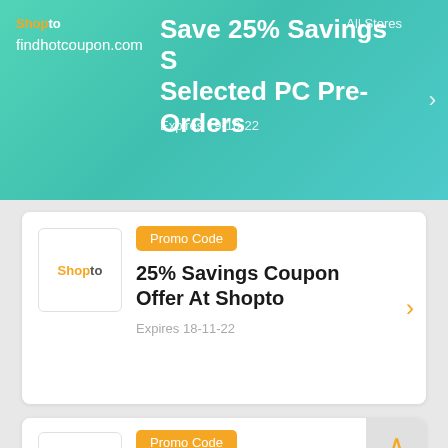[Figure (screenshot): Green/teal gradient banner showing Shopto logo, findhotcoupon.com URL, 'Save 25% Savings S Selected PC Pre-Orders', 'All Stores', 'Expires 19-10-22', with right arrow]
Promo Code
25% Savings Coupon Offer At Shopto
Expires 18-11-22
Promo Code
£25 Off Entire Purchase For Shopto
Expires 18-11-22